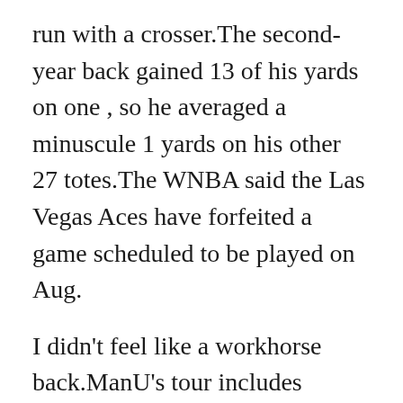run with a crosser.The second-year back gained 13 of his yards on one , so he averaged a minuscule 1 yards on his other 27 totes.The WNBA said the Las Vegas Aces have forfeited a game scheduled to be played on Aug.
I didn't feel like a workhorse back.ManU's tour includes matches that are part of the International Champions Cup .The scheduled five-game Unmissable Tour 2017, presented by Aon, includes matches against Real Madrid, Barcelona and Manchester City, as well as two MLS clubs, the Los Angeles Galaxy and Real Salt Like City.McLeish's squad join up for friendlies against World Cup hopefuls Peru and Mexico.Men and I...